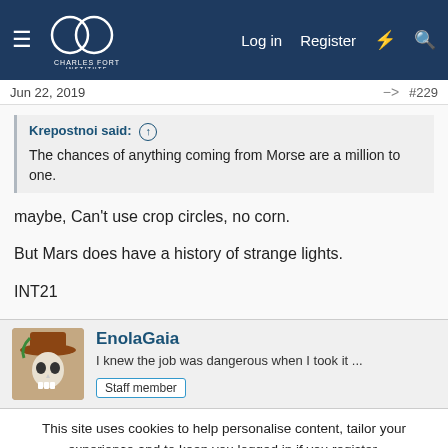Charles Fort Institute forum header with Log in, Register navigation
Jun 22, 2019   #229
Krepostnoi said: ↑
The chances of anything coming from Morse are a million to one.
maybe, Can't use crop circles, no corn.

But Mars does have a history of strange lights.

INT21
EnolaGaia
I knew the job was dangerous when I took it ...  Staff member
This site uses cookies to help personalise content, tailor your experience and to keep you logged in if you register.
By continuing to use this site, you are consenting to our use of cookies.